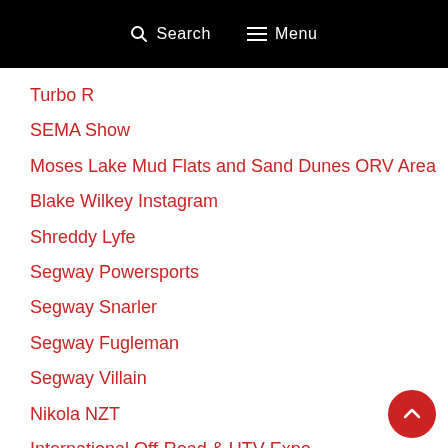Search  Menu
Turbo R
SEMA Show
Moses Lake Mud Flats and Sand Dunes ORV Area
Blake Wilkey Instagram
Shreddy Lyfe
Segway Powersports
Segway Snarler
Segway Fugleman
Segway Villain
Nikola NZT
International Off-Road & UTV Expo
Axial Yeti Jr. Can-Am Maverick
Follow the SXS Guys